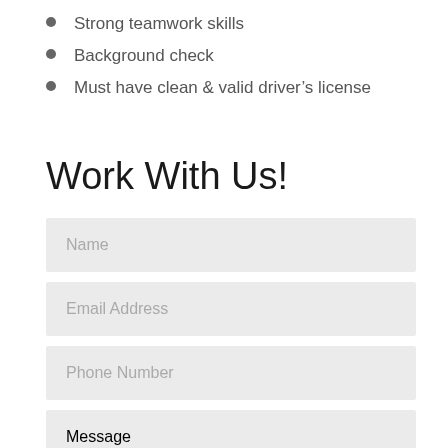Strong teamwork skills
Background check
Must have clean & valid driver's license
Work With Us!
Name
Email Address
Phone Number
Message